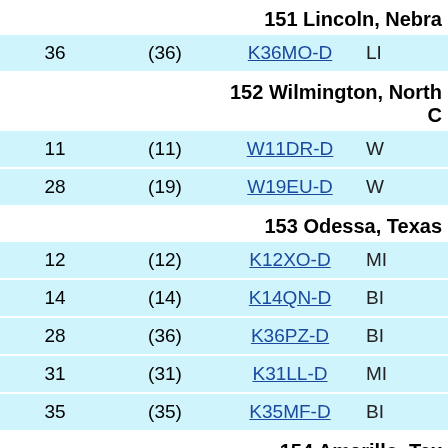| Channel | RF | Callsign | Network |
| --- | --- | --- | --- |
| section:151 Lincoln, Nebraska |
| 36 | (36) | K36MO-D | LI... |
| section:152 Wilmington, North C... |
| 11 | (11) | W11DR-D | W... |
| 28 | (19) | W19EU-D | W... |
| section:153 Odessa, Texas |
| 12 | (12) | K12XO-D | MI... |
| 14 | (14) | K14QN-D | BI... |
| 28 | (36) | K36PZ-D | BI... |
| 31 | (31) | K31LL-D | MI... |
| 35 | (35) | K35MF-D | BI... |
| section:154 Amarillo, Texas |
| 17 | (17) | K17HI-D | AM... |
| section:155 Sherman, Texas |
| 19 | (26) | K26PA-D | AP... |
| 22 | (22) | K22JQ-D | AP... |